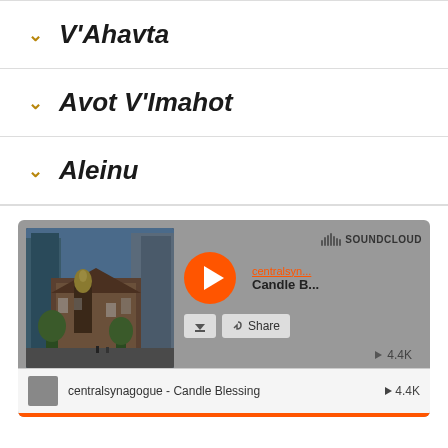V'Ahavta
Avot V'Imahot
Aleinu
[Figure (screenshot): SoundCloud embedded audio player showing 'centralsynagogue - Candle Blessing' with play button, download and share controls, synagogue building thumbnail image, and play count of 4.4K]